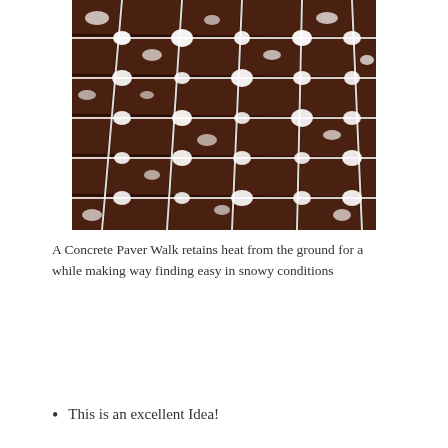[Figure (photo): A concrete paver walkway covered with snow, showing the brick/paver pattern with white snow accumulating in the joints and on the surface. The pavers appear dark reddish-brown in contrast to the white snow.]
A Concrete Paver Walk retains heat from the ground for a while making way finding easy in snowy conditions
This is an excellent Idea!